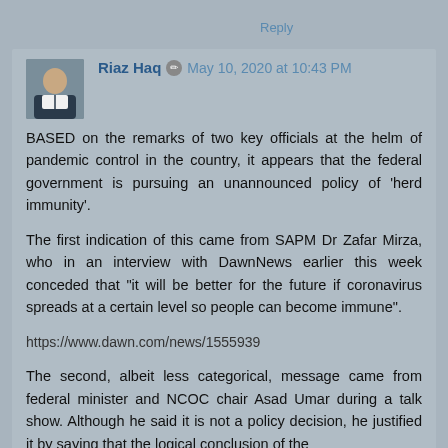Reply
Riaz Haq ✏ May 10, 2020 at 10:43 PM
BASED on the remarks of two key officials at the helm of pandemic control in the country, it appears that the federal government is pursuing an unannounced policy of 'herd immunity'.
The first indication of this came from SAPM Dr Zafar Mirza, who in an interview with DawnNews earlier this week conceded that "it will be better for the future if coronavirus spreads at a certain level so people can become immune".
https://www.dawn.com/news/1555939
The second, albeit less categorical, message came from federal minister and NCOC chair Asad Umar during a talk show. Although he said it is not a policy decision, he justified it by saying that the logical conclusion of the